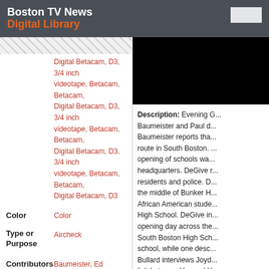Boston TV News Digital Library
Digital Betacam, D3, 3/4 inch videotape, Betacam, Betacam, Digital Betacam, D3, 3/4 inch videotape, Betacam, Betacam, Digital Betacam, D3, 3/4 inch videotape, Betacam, Betacam, Digital Betacam, D3
Color: Color
Type or Purpose: Aircheck
Contributors: Baumeister, Ed (Reporter); Bullard, Pam (Reporter); deGive, Paul (Reporter); Stoia, Judy (Reporter); Griffith, Gary (Reporter); Fahey, Marion ()
Description: Evening G... Baumeister and Paul d... Baumeister reports tha... route in South Boston. ... opening of schools wa... headquarters. DeGive r... residents and police. D... the middle of Bunker H... African American stude... High School. DeGive in... opening day across the... South Boston High Sch... school, while one desc... Bullard interviews Joyd... link between Harvard b... schools with universitie... at Harvard. Bullard also... in Boston to oversee th... grant in the nation to a...